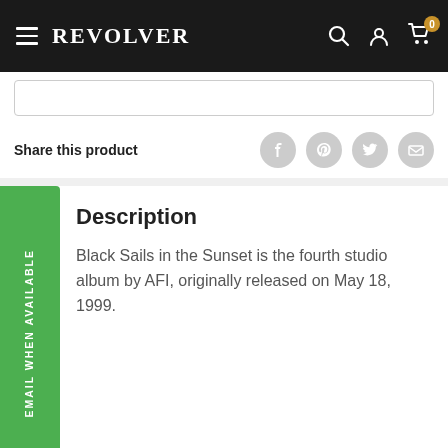REVOLVER
Share this product
EMAIL WHEN AVAILABLE
Description
Black Sails in the Sunset is the fourth studio album by AFI, originally released on May 18, 1999.
Payment & Security